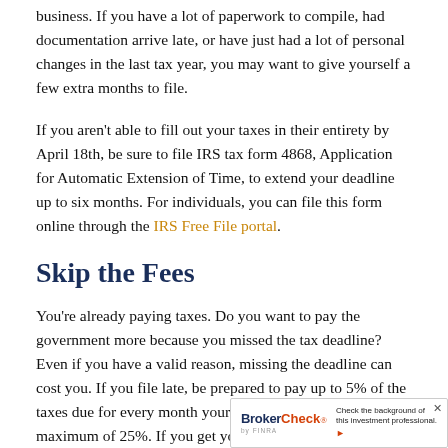business. If you have a lot of paperwork to compile, had documentation arrive late, or have just had a lot of personal changes in the last tax year, you may want to give yourself a few extra months to file.
If you aren't able to fill out your taxes in their entirety by April 18th, be sure to file IRS tax form 4868, Application for Automatic Extension of Time, to extend your deadline up to six months. For individuals, you can file this form online through the IRS Free File portal.
Skip the Fees
You're already paying taxes. Do you want to pay the government more because you missed the tax deadline? Even if you have a valid reason, missing the deadline can cost you. If you file late, be prepared to pay up to 5% of the taxes due for every month your taxes are late, up to a maximum of 25%. If you get your paperwork done after the due date, you'll face a penalty of all your u... or $435, whichever is smaller.